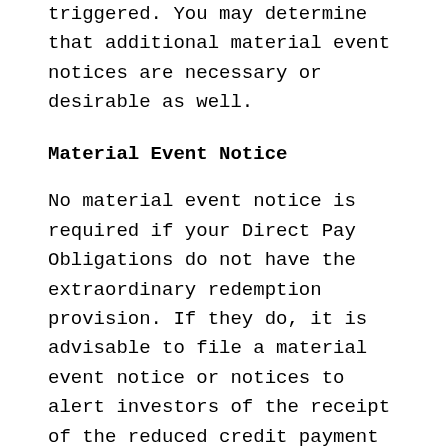triggered. You may determine that additional material event notices are necessary or desirable as well.
Material Event Notice
No material event notice is required if your Direct Pay Obligations do not have the extraordinary redemption provision. If they do, it is advisable to file a material event notice or notices to alert investors of the receipt of the reduced credit payment and the triggering of that provision within 10 business days, whether or not you have decided to act on